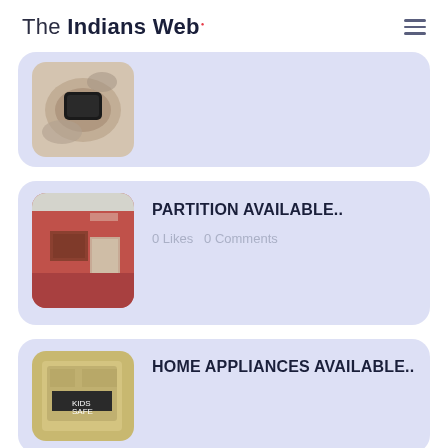The Indians Web
[Figure (photo): Top card with a photo of a black phone on a patterned rug/carpet]
[Figure (photo): Card with a photo of a red-walled room/partition interior]
PARTITION AVAILABLE..
0 Likes   0 Comments
[Figure (photo): Card with a photo of home appliances]
HOME APPLIANCES AVAILABLE..